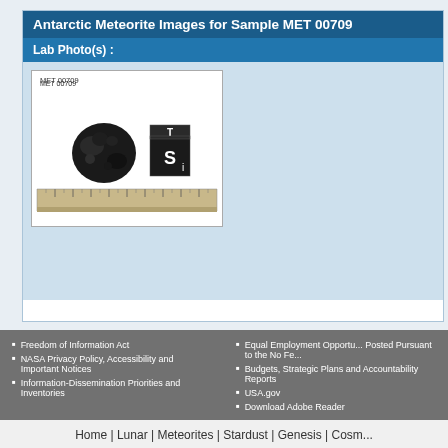Antarctic Meteorite Images for Sample MET 00709
Lab Photo(s) :
[Figure (photo): Lab photo of meteorite sample MET 00709 showing a dark rocky fragment next to a scale cube labeled 'Si' with letter 'T' on top, placed on a ruler for scale. Label reads MET 00709.]
Freedom of Information Act
NASA Privacy Policy, Accessibility and Important Notices
Information-Dissemination Priorities and Inventories
Equal Employment Opportu... Posted Pursuant to the No Fe...
Budgets, Strategic Plans and Accountability Reports
USA.gov
Download Adobe Reader
Home | Lunar | Meteorites | Stardust | Genesis | Cosm...